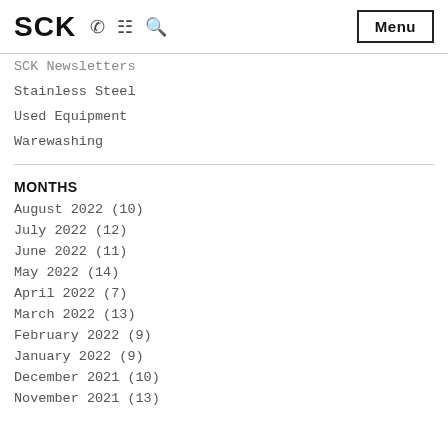SCK  Menu
SCK Newsletters
Stainless Steel
Used Equipment
Warewashing
MONTHS
August 2022 (10)
July 2022 (12)
June 2022 (11)
May 2022 (14)
April 2022 (7)
March 2022 (13)
February 2022 (9)
January 2022 (9)
December 2021 (10)
November 2021 (13)